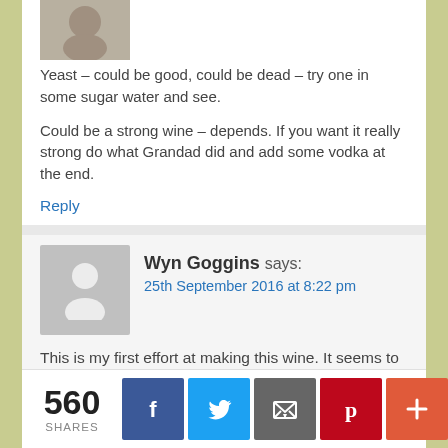[Figure (photo): Small avatar/profile photo of a person, partially cropped at top]
Yeast – could be good, could be dead – try one in some sugar water and see.

Could be a strong wine – depends. If you want it really strong do what Grandad did and add some vodka at the end.
Reply
[Figure (illustration): Gray placeholder avatar silhouette for Wyn Goggins]
Wyn Goggins says:
25th September 2016 at 8:22 pm
This is my first effort at making this wine. It seems to have stopped fermenting after only a week. I thought it would be going for longer than that. Do you think it's ok? Thank you.
560 SHARES